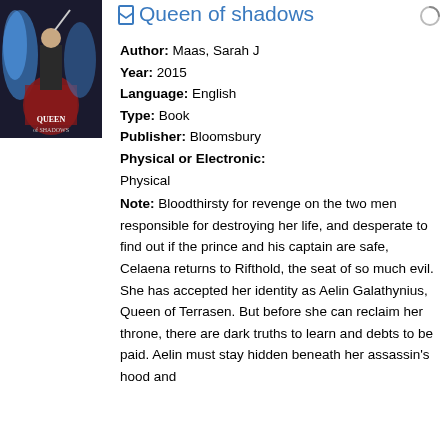[Figure (illustration): Book cover of 'Queen of Shadows' by Sarah J. Maas showing a dark fantasy figure with blue flames and red details]
Queen of shadows
Author: Maas, Sarah J
Year: 2015
Language: English
Type: Book
Publisher: Bloomsbury
Physical or Electronic: Physical
Note: Bloodthirsty for revenge on the two men responsible for destroying her life, and desperate to find out if the prince and his captain are safe, Celaena returns to Rifthold, the seat of so much evil. She has accepted her identity as Aelin Galathynius, Queen of Terrasen. But before she can reclaim her throne, there are dark truths to learn and debts to be paid. Aelin must stay hidden beneath her assassin's hood and